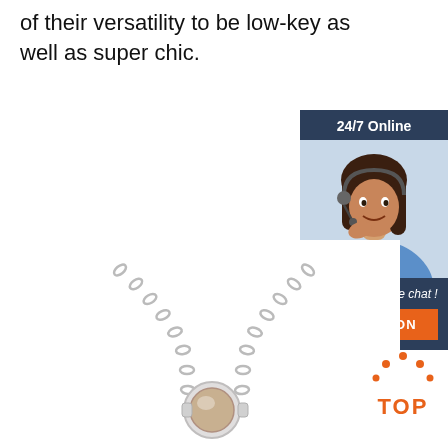of their versatility to be low-key as well as super chic.
[Figure (other): Orange 'Get Price' button]
[Figure (other): 24/7 Online chat widget showing a woman with a headset, with text 'Click here for free chat!' and an orange 'QUOTATION' button]
[Figure (photo): Silver chain necklace with a pearl pendant]
[Figure (other): Orange 'TOP' back-to-top button with dot arc decoration]